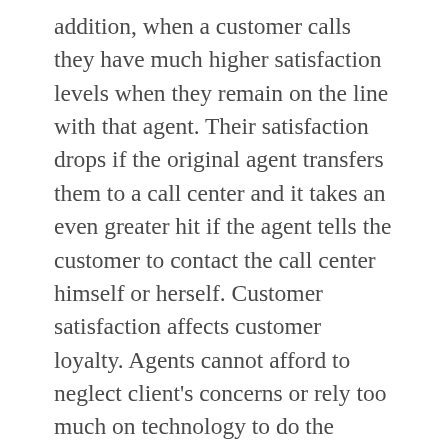addition, when a customer calls they have much higher satisfaction levels when they remain on the line with that agent. Their satisfaction drops if the original agent transfers them to a call center and it takes an even greater hit if the agent tells the customer to contact the call center himself or herself. Customer satisfaction affects customer loyalty. Agents cannot afford to neglect client's concerns or rely too much on technology to do the heavy lifting of a claim. To learn more about improving your business's